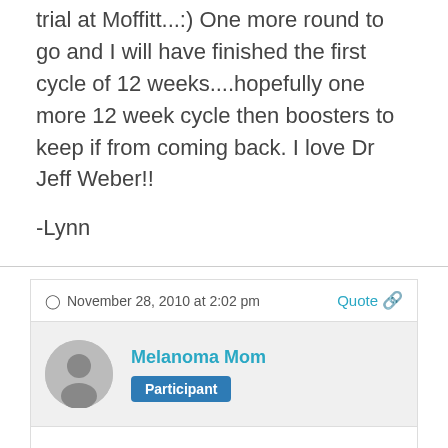trial at Moffitt...:) One more round to go and I will have finished the first cycle of 12 weeks....hopefully one more 12 week cycle then boosters to keep if from coming back. I love Dr Jeff Weber!!
-Lynn
November 28, 2010 at 2:02 pm
Quote
Melanoma Mom
Participant
Thank you to everyone for your support and guidance! As a 14 year cancer survivor myself (stage 4 thyroid), I